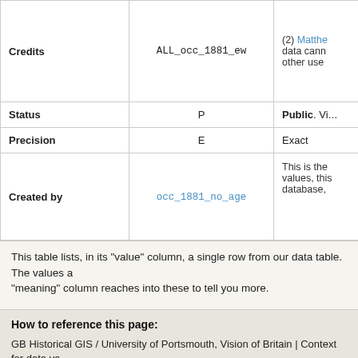|  | Value | Meaning |
| --- | --- | --- |
| Credits | ALL_occ_1881_ew | (2) Matthe... data cann... other use... |
| Status | P | Public. Vi... |
| Precision | E | Exact |
| Created by | occ_1881_no_age | This is the... values, this... database,... |
This table lists, in its "value" column, a single row from our data table. The values a... "meaning" column reaches into these to tell you more.
How to reference this page:
GB Historical GIS / University of Portsmouth, Vision of Britain | Context for data va...
URL: http://www.visionofbritain.org.uk/datavalue/74387826
Date accessed: 03rd September 2022